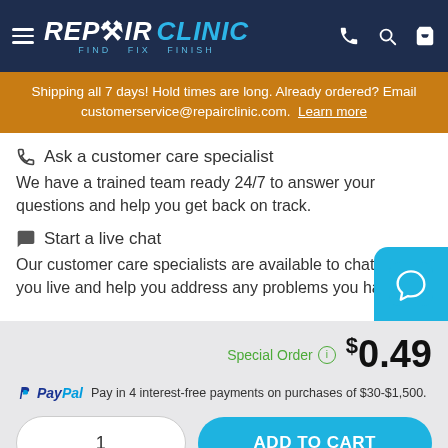REPAIR CLINIC — FIND. FIX. FINISH.
Shipping all 7 days! Hold times are long. Already ordered? Email customerservice@repairclinic.com. Learn more
Ask a customer care specialist
We have a trained team ready 24/7 to answer your questions and help you get back on track.
Start a live chat
Our customer care specialists are available to chat with you live and help you address any problems you have.
Special Order  $0.49
PayPal  Pay in 4 interest-free payments on purchases of $30-$1,500.
1
ADD TO CART